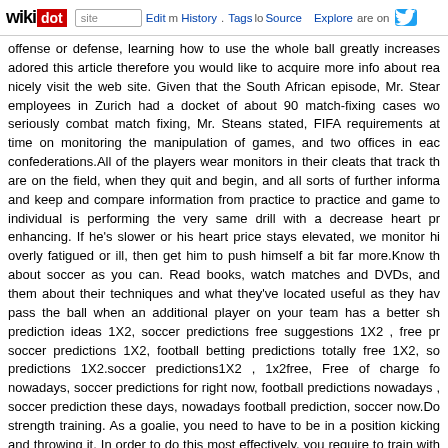wikidot | site | Edit | History | Tags | Source | Explore | Share on Twitter
offense or defense, learning how to use the whole ball greatly increases adored this article therefore you would like to acquire more info about rea nicely visit the web site. Given that the South African episode, Mr. Stear employees in Zurich had a docket of about 90 match-fixing cases wo seriously combat match fixing, Mr. Steans stated, FIFA requirements at time on monitoring the manipulation of games, and two offices in eac confederations.All of the players wear monitors in their cleats that track th are on the field, when they quit and begin, and all sorts of further informa and keep and compare information from practice to practice and game to individual is performing the very same drill with a decrease heart pr enhancing. If he's slower or his heart price stays elevated, we monitor hi overly fatigued or ill, then get him to push himself a bit far more.Know th about soccer as you can. Read books, watch matches and DVDs, and them about their techniques and what they've located useful as they hav pass the ball when an additional player on your team has a better sh prediction ideas 1X2, soccer predictions free suggestions 1X2 , free pr soccer predictions 1X2, football betting predictions totally free 1X2, so predictions 1X2.soccer predictions1X2 , 1x2free, Free of charge fo nowadays, soccer predictions for right now, football predictions nowadays , soccer prediction these days, nowadays football prediction, soccer now.Do strength training. As a goalie, you need to have to be in a position kicking and throwing it. In order to do this most effectively, you require to train with weight workout routines.No. The more details you have ab relevant history—the more informed your bet can be, and the higher the li winning is strictly a matter of random opportunity.Train a lot and improve and mentally. Train each day, make time to train, time to play the stunning only get one shot. Bounce the ball in in between your legs as if you are sw right foot to the inside of your left. Work on utilizing little movements to "c